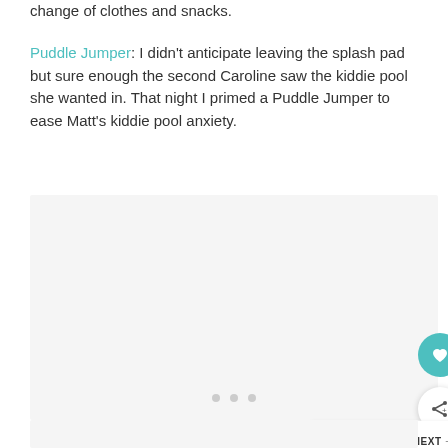change of clothes and snacks.
Puddle Jumper: I didn't anticipate leaving the splash pad but sure enough the second Caroline saw the kiddie pool she wanted in. That night I primed a Puddle Jumper to ease Matt's kiddie pool anxiety.
[Figure (other): Gray placeholder image area with three dots indicating loading or slideshow, with heart and share buttons on the right side, and a 'What's Next' bar at the bottom right showing a thumbnail and 'Five on Friday' label.]